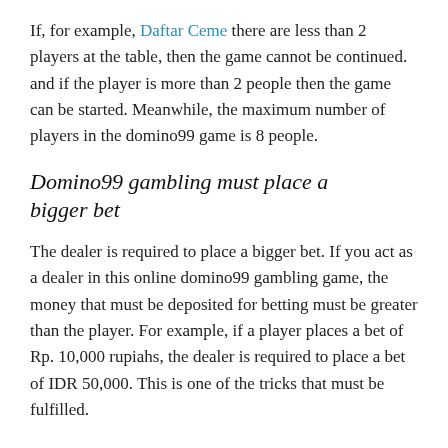If, for example, Daftar Ceme there are less than 2 players at the table, then the game cannot be continued. and if the player is more than 2 people then the game can be started. Meanwhile, the maximum number of players in the domino99 game is 8 people.
Domino99 gambling must place a bigger bet
The dealer is required to place a bigger bet. If you act as a dealer in this online domino99 gambling game, the money that must be deposited for betting must be greater than the player. For example, if a player places a bet of Rp. 10,000 rupiahs, the dealer is required to place a bet of IDR 50,000. This is one of the tricks that must be fulfilled.